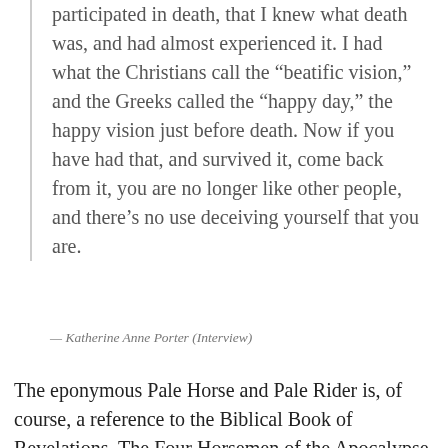participated in death, that I knew what death was, and had almost experienced it. I had what the Christians call the “beatific vision,” and the Greeks called the “happy day,” the happy vision just before death. Now if you have had that, and survived it, come back from it, you are no longer like other people, and there’s no use deceiving yourself that you are.
— Katherine Anne Porter (Interview)
The eponymous Pale Horse and Pale Rider is, of course, a reference to the Biblical Book of Revelations. The Four Horsemen of the Apocalypse described in Revelations are Conqueror on a white horse, War on a red horse, Famine on a black horse, and Death on a white horse. In this way, Pale Horse, Pale Rider is also a story about the